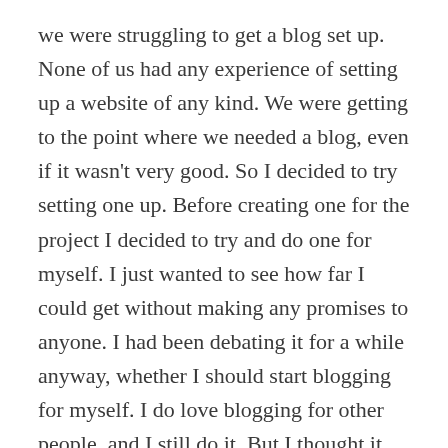we were struggling to get a blog set up. None of us had any experience of setting up a website of any kind. We were getting to the point where we needed a blog, even if it wasn't very good. So I decided to try setting one up. Before creating one for the project I decided to try and do one for myself. I just wanted to see how far I could get without making any promises to anyone. I had been debating it for a while anyway, whether I should start blogging for myself. I do love blogging for other people, and I still do it. But I thought it might be nice just to have the space to do my own thing that doesn't have to follow a certain theme or subject. Blogging helps me when I am feeling stressed and have a lot on my mind. My thoughts don't always fit under one umbrella,